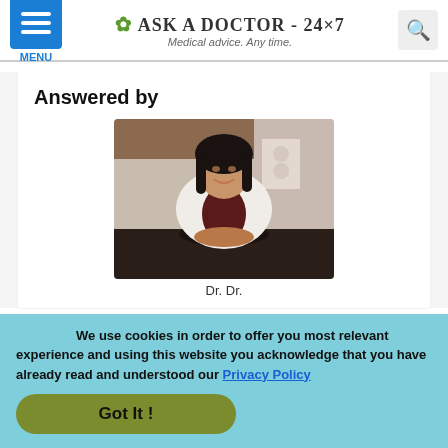Ask a Doctor - 24x7 · Medical advice. Any time.
Answered by
[Figure (photo): Photo of a female doctor in a white coat seated in a medical office chair, smiling at the camera.]
Dr. Dr.
We use cookies in order to offer you most relevant experience and using this website you acknowledge that you have already read and understood our Privacy Policy
Got It !